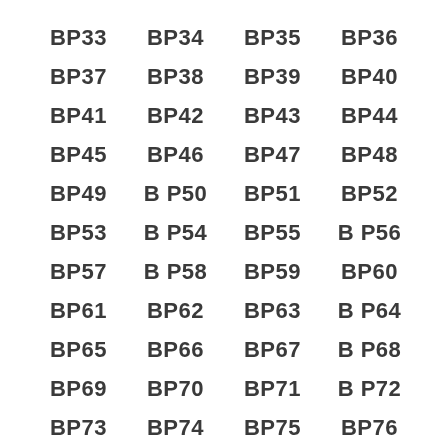BP33
BP34
BP35
BP36
BP37
BP38
BP39
BP40
BP41
BP42
BP43
BP44
BP45
BP46
BP47
BP48
BP49
BP50
BP51
BP52
BP53
BP54
BP55
BP56
BP57
BP58
BP59
BP60
BP61
BP62
BP63
BP64
BP65
BP66
BP67
BP68
BP69
BP70
BP71
BP72
BP73
BP74
BP75
BP76